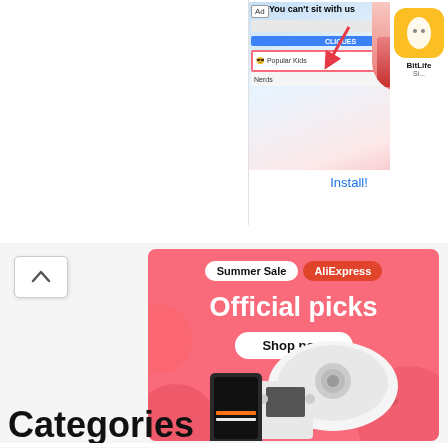[Figure (screenshot): BitLife mobile app advertisement banner at top right with 'You can't sit with us' text, social media mockup visuals, BitLife logo icon, and 'Install!' call to action link]
[Figure (screenshot): AliExpress Summer Sale banner advertisement with coral/salmon pink background showing 'Summer Sale AliExpress' pill labels, 'Official picks' headline, 'Shop now' button, and product images including a robot vacuum, Nintendo Switch OLED, and gaming console. Decorative circles in background.]
Categories